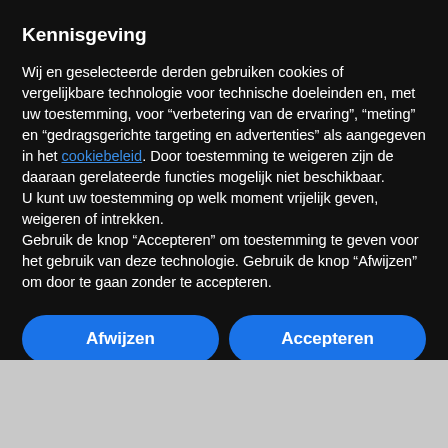Kennisgeving
Wij en geselecteerde derden gebruiken cookies of vergelijkbare technologie voor technische doeleinden en, met uw toestemming, voor “verbetering van de ervaring”, “meting” en “gedragsgerichte targeting en advertenties” als aangegeven in het cookiebeleid. Door toestemming te weigeren zijn de daaraan gerelateerde functies mogelijk niet beschikbaar.
U kunt uw toestemming op welk moment vrijelijk geven, weigeren of intrekken.
Gebruik de knop “Accepteren” om toestemming te geven voor het gebruik van deze technologie. Gebruik de knop “Afwijzen” om door te gaan zonder te accepteren.
Afwijzen
Accepteren
Meer informatie en aanpassen